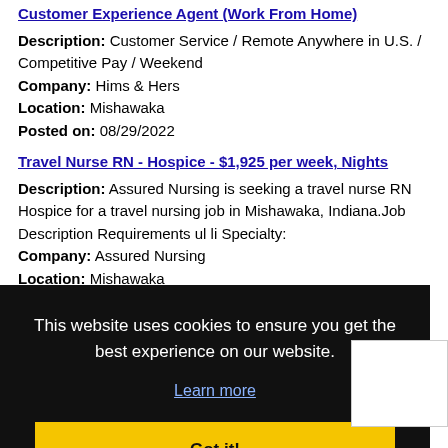Customer Experience Agent (Work From Home)
Description: Customer Service / Remote Anywhere in U.S. / Competitive Pay / Weekend
Company: Hims & Hers
Location: Mishawaka
Posted on: 08/29/2022
Travel Nurse RN - Hospice - $1,925 per week, Nights
Description: Assured Nursing is seeking a travel nurse RN Hospice for a travel nursing job in Mishawaka, Indiana.Job Description Requirements ul li Specialty:
Company: Assured Nursing
Location: Mishawaka
This website uses cookies to ensure you get the best experience on our website.
Learn more
Got it!